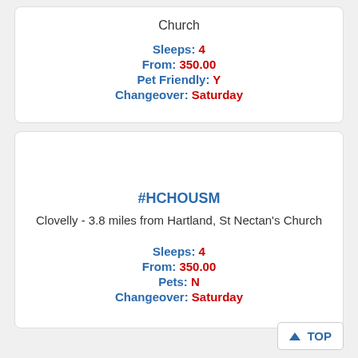Church
Sleeps: 4
From: 350.00
Pet Friendly: Y
Changeover: Saturday
#HCHOUSM
Clovelly - 3.8 miles from Hartland, St Nectan's Church
Sleeps: 4
From: 350.00
Pets: N
Changeover: Saturday